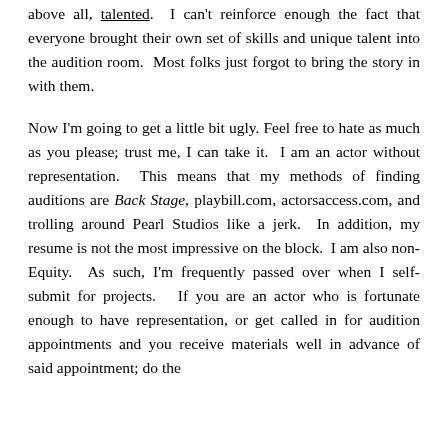above all, talented. I can't reinforce enough the fact that everyone brought their own set of skills and unique talent into the audition room. Most folks just forgot to bring the story in with them.
Now I'm going to get a little bit ugly. Feel free to hate as much as you please; trust me, I can take it. I am an actor without representation. This means that my methods of finding auditions are Back Stage, playbill.com, actorsaccess.com, and trolling around Pearl Studios like a jerk. In addition, my resume is not the most impressive on the block. I am also non-Equity. As such, I'm frequently passed over when I self-submit for projects. If you are an actor who is fortunate enough to have representation, or get called in for audition appointments and you receive materials well in advance of said appointment; do the